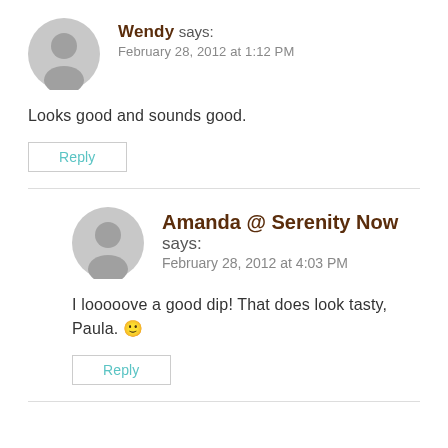[Figure (illustration): Gray user avatar circle for Wendy]
Wendy says:
February 28, 2012 at 1:12 PM
Looks good and sounds good.
Reply
[Figure (illustration): Gray user avatar circle for Amanda @ Serenity Now]
Amanda @ Serenity Now says:
February 28, 2012 at 4:03 PM
I looooove a good dip! That does look tasty, Paula. 🙂
Reply